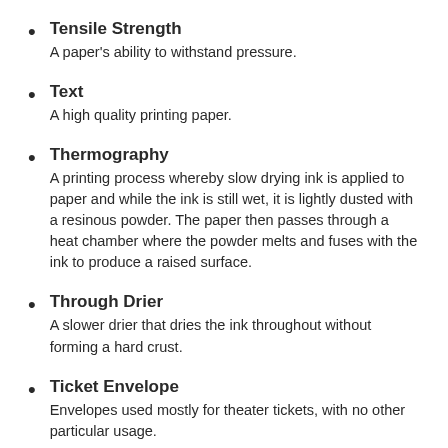Tensile Strength
A paper's ability to withstand pressure.
Text
A high quality printing paper.
Thermography
A printing process whereby slow drying ink is applied to paper and while the ink is still wet, it is lightly dusted with a resinous powder. The paper then passes through a heat chamber where the powder melts and fuses with the ink to produce a raised surface.
Through Drier
A slower drier that dries the ink throughout without forming a hard crust.
Ticket Envelope
Envelopes used mostly for theater tickets, with no other particular usage.